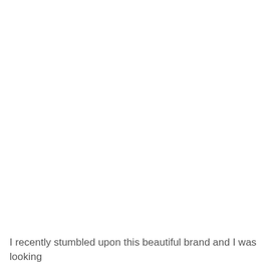I recently stumbled upon this beautiful brand and I was looking